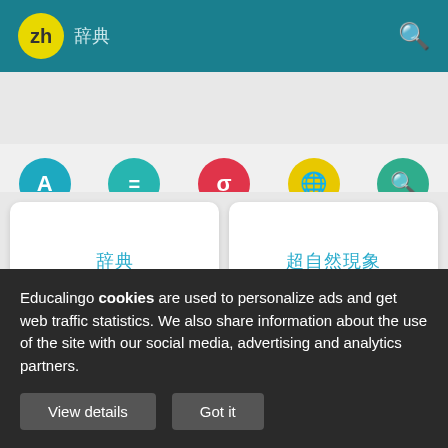zh 辞典
[Figure (screenshot): Navigation bar with five circular icons: Dictionary (blue A), Synonyms (teal =), Translator (red sigma), Trends (yellow globe), Examples (green magnifier)]
辞典 cui zhe
超自然現象 chao zhe mu zhe
Educalingo cookies are used to personalize ads and get web traffic statistics. We also share information about the use of the site with our social media, advertising and analytics partners.
View details   Got it